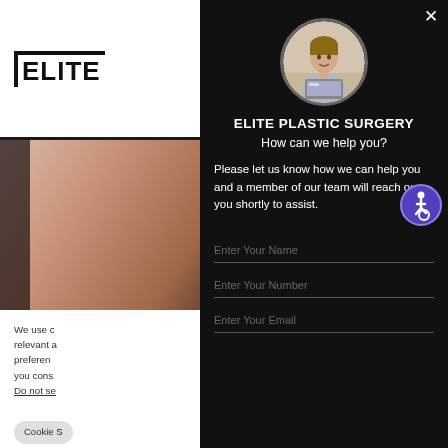[Figure (screenshot): Elite Plastic Surgery website with modal popup chat widget. Left side shows website logo 'ELITE' and a partial body image. The right modal panel has a dark background with circular avatar of a man at laptop, form fields for Name, Number, Email, and accessibility icon.]
ELITE PLASTIC SURGERY
How can we help you?
Please let us know how we can help you and a member of our team will reach out to you shortly to assist.
Enter Your Name
Enter Your Number
Enter Your Email
We use c... relevant a... preferen... you cons...
Do not se...
Cookie S...